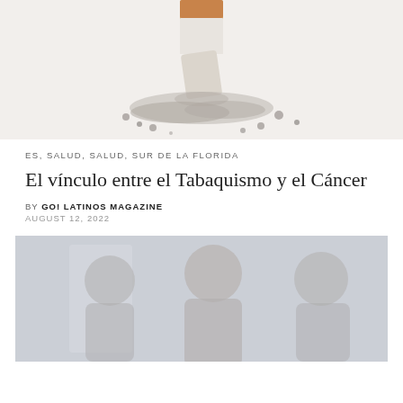[Figure (photo): Close-up photo of a cigarette being stubbed out, with ash and cigarette debris scattered around, on a white background.]
ES, SALUD, SALUD, SUR DE LA FLORIDA
El vínculo entre el Tabaquismo y el Cáncer
BY GO! LATINOS MAGAZINE
AUGUST 12, 2022
[Figure (photo): Blurred photo showing two people (men) in what appears to be an indoor/office setting, soft focus.]